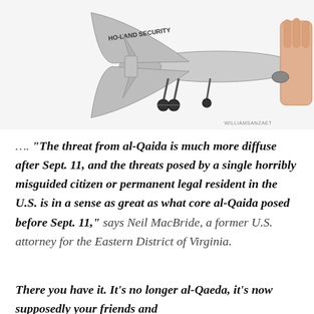[Figure (photo): A drone aircraft labeled 'HO-LAND SECURITY' on its wing, shown from below at an angle. Hands are visible holding or displaying the drone. The drone has a grey body, landing gear with wheels, and tail fins. Watermark reads 'WILLIAMSANZAET'.]
.... “The threat from al-Qaida is much more diffuse after Sept. 11, and the threats posed by a single horribly misguided citizen or permanent legal resident in the U.S. is in a sense as great as what core al-Qaida posed before Sept. 11,” says Neil MacBride, a former U.S. attorney for the Eastern District of Virginia.
There you have it. It’s no longer al-Qaeda, it’s now supposedly your friends and